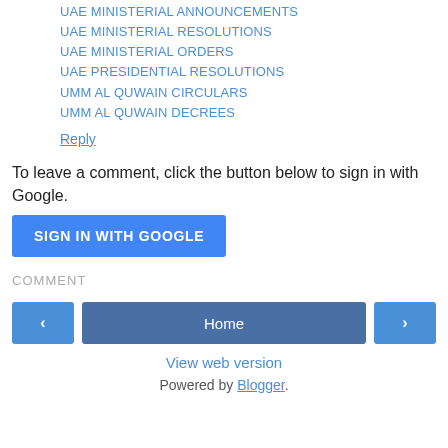UAE MINISTERIAL ANNOUNCEMENTS
UAE MINISTERIAL RESOLUTIONS
UAE MINISTERIAL ORDERS
UAE PRESIDENTIAL RESOLUTIONS
UMM AL QUWAIN CIRCULARS
UMM AL QUWAIN DECREES
Reply
To leave a comment, click the button below to sign in with Google.
SIGN IN WITH GOOGLE
COMMENT
‹
Home
›
View web version
Powered by Blogger.